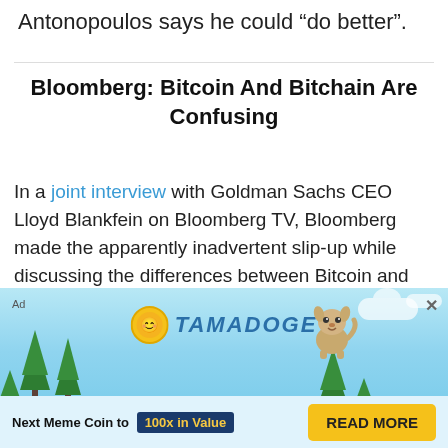Antonopoulos says he could “do better”.
Bloomberg: Bitcoin And Bitchain Are Confusing
In a joint interview with Goldman Sachs CEO Lloyd Blankfein on Bloomberg TV, Bloomberg made the apparently inadvertent slip-up while discussing the differences between Bitcoin and Blockchain.
5 BTC + 300 Free Spins for new players & 15 BTC + 35.000 Free Spins every month, only at
[Figure (infographic): Tamadoge advertisement banner with sky/trees background, coin logo, dog mascot, '100x in Value' badge, and 'READ MORE' button]